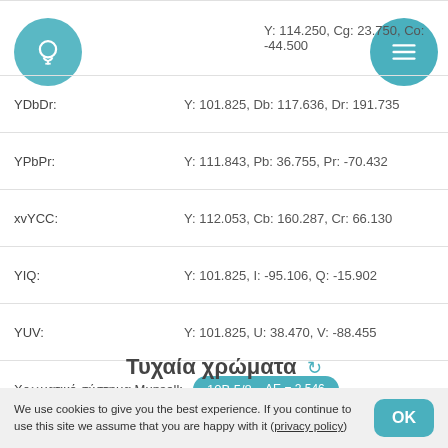YCbCr: Y: 114.250, Cg: 23.750, Co: -44.500
YDbDr: Y: 101.825, Db: 117.636, Dr: 191.735
YPbPr: Y: 111.843, Pb: 36.755, Pr: -70.432
xvYCC: Y: 112.053, Cb: 160.287, Cr: 66.130
YIQ: Y: 101.825, I: -95.106, Q: -15.902
YUV: Y: 101.825, U: 38.470, V: -88.455
Χρωματικό σύστημα Munsell: 10B 5/8  ΔE = 2.546
Χρώματα εμπορικής επωνυμίας: Salesforce  ΔE = 5.194
Τυχαία χρώματα
We use cookies to give you the best experience. If you continue to use this site we assume that you are happy with it (privacy policy)